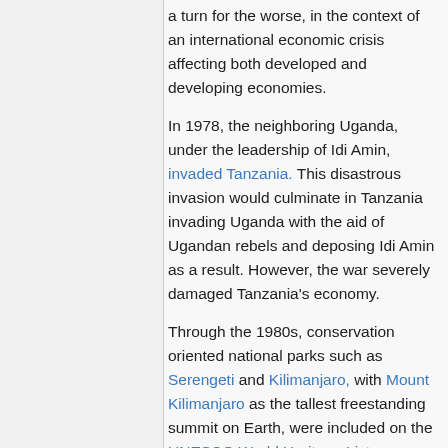a turn for the worse, in the context of an international economic crisis affecting both developed and developing economies.
In 1978, the neighboring Uganda, under the leadership of Idi Amin, invaded Tanzania. This disastrous invasion would culminate in Tanzania invading Uganda with the aid of Ugandan rebels and deposing Idi Amin as a result. However, the war severely damaged Tanzania's economy.
Through the 1980s, conservation oriented national parks such as Serengeti and Kilimanjaro, with Mount Kilimanjaro as the tallest freestanding summit on Earth, were included on the UNESCO World Heritage List.
From the mid-1980s, the regime financed itself by borrowing from the